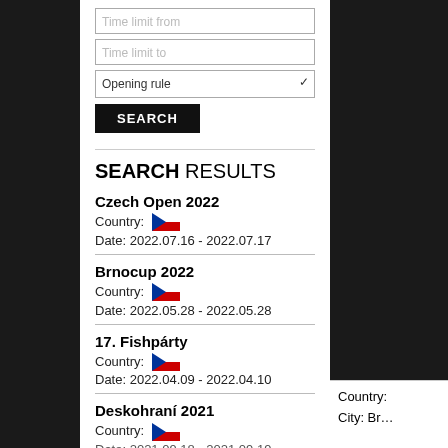[Figure (screenshot): Form fields: Time limit from input, Time limit to input, Opening rule dropdown, SEARCH button]
SEARCH RESULTS
Czech Open 2022
Country: [Czech flag]
Date: 2022.07.16 - 2022.07.17
Brnocup 2022
Country: [Czech flag]
Date: 2022.05.28 - 2022.05.28
17. Fishpárty
Country: [Czech flag]
Date: 2022.04.09 - 2022.04.10
Deskohraní 2021
Country: [Czech flag]
Date: 2021.09.18 - 2021.09.19
Country:
City: Br…